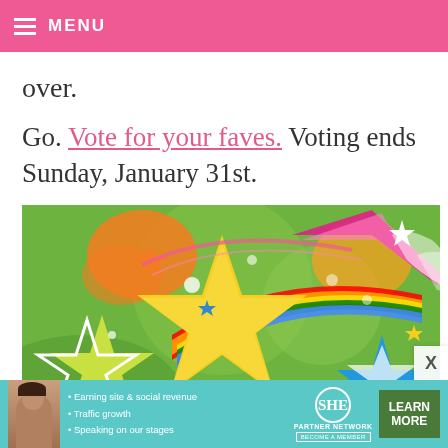MENU
over.
Go. Vote for your faves. Voting ends Sunday, January 31st.
[Figure (illustration): Colorful clipart illustration of stars in yellow, white, green, blue, red and orange with swirling rainbow ribbons on a green background.]
• Earning site & social revenue  • Traffic growth  • Speaking on our stages  SHE PARTNER NETWORK  BECOME A MEMBER  LEARN MORE